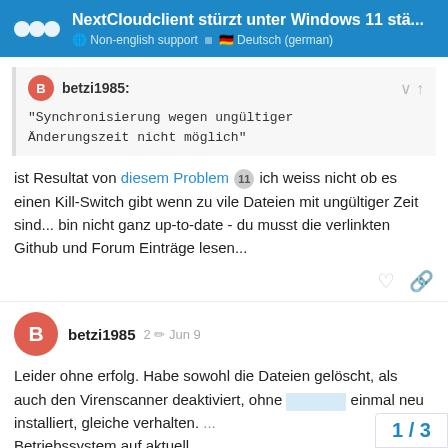NextCloudclient stürzt unter Windows 11 stä... | Non-english support | Deutsch (german)
betzi1985:
"Synchronisierung wegen ungültiger Änderungszeit nicht möglich"
ist Resultat von diesem Problem 11 ich weiss nicht ob es einen Kill-Switch gibt wenn zu vile Dateien mit ungültiger Zeit sind... bin nicht ganz up-to-date - du musst die verlinkten Github und Forum Einträge lesen...
betzi1985
2 Jun 9
Leider ohne erfolg. Habe sowohl die Dateien gelöscht, als auch den Virenscanner deaktiviert, ohne einmal neu installiert, gleiche verhalten. Betriebssystem auf aktuell...